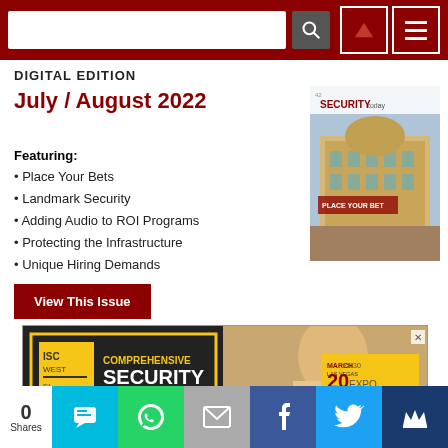DIGITAL EDITION
July / August 2022
Featuring:
Place Your Bets
Landmark Security
Adding Audio to ROI Programs
Protecting the Infrastructure
Unique Hiring Demands
[Figure (photo): Magazine cover for Security Today July/August 2022 showing a European building facade (Place Your Bets)]
View This Issue
[Figure (photo): ISC West advertisement: COMPREHENSIVE SECURITY FOR A SAFER, CONNECTED WORLD. March 28-30, Las Vegas. 2023. Sands Expo, March 29-31. BE THE FIRST TO KNOW WHEN REGISTRATION OPENS at ISCWEST.ISCCOMPREREG25]
0 Shares